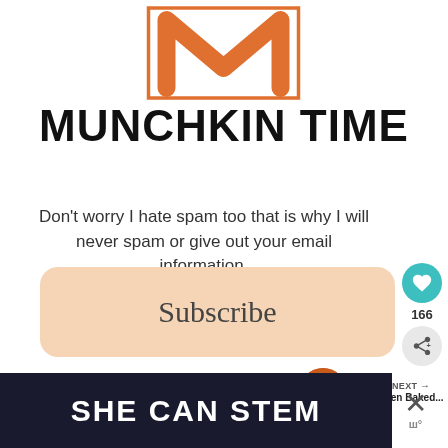[Figure (logo): Munchkin Time logo: orange painted M letter inside a square outline frame]
MUNCHKIN TIME
Don't worry I hate spam too that is why I will never spam or give out your email information.
[Figure (other): Subscribe button - peach/salmon colored rounded rectangle with text 'Subscribe']
[Figure (other): Heart icon button (teal circle) with like count 166 and share icon below]
[Figure (other): What's Next panel with food photo thumbnail and text 'Best Oven Baked...']
[Figure (other): SHE CAN STEM dark advertisement banner at bottom]